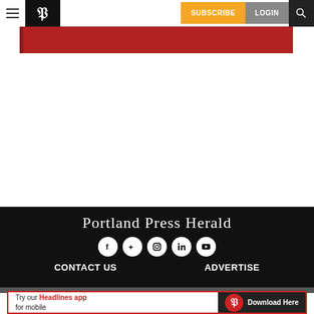Navigation bar with hamburger menu, Portland Press Herald logo (P), SUBSCRIBE, LOGIN, and search icon
[Figure (other): Red banner bar below navigation]
[Figure (logo): Portland Press Herald footer logo and social media icons (Facebook, Twitter, Instagram, LinkedIn, YouTube) with CONTACT US and ADVERTISE links on black background]
[Figure (infographic): Advertisement banner: Try our Headlines app for mobile — Download Here, with Portland Press Herald P logo on red circle, dark background on right side]